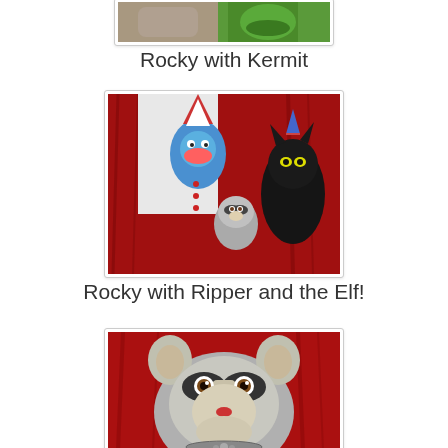[Figure (photo): Photo of Rocky (raccoon stuffed animal/cat) with Kermit the Frog, partially visible at top of page]
Rocky with Kermit
[Figure (photo): Photo of Rocky (raccoon stuffed animal) with Ripper (a blue elf/clown toy with hat) and the Elf, next to a black cat against red velvet background]
Rocky with Ripper and the Elf!
[Figure (photo): Close-up photo of Rocky the raccoon stuffed animal against red velvet background]